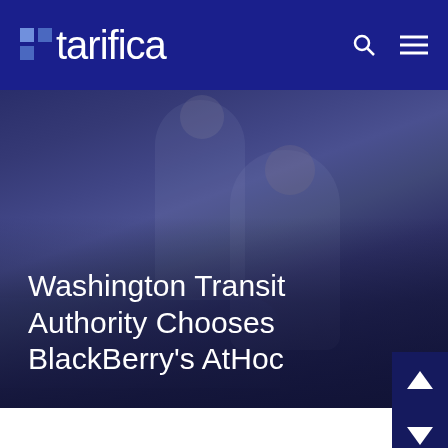tarifica
[Figure (photo): Dark-toned photo of office workers collaborating at a computer, overlaid with a dark navy blue semi-transparent overlay. Three people visible, two women and a man, looking at a screen together in an office environment.]
Washington Transit Authority Chooses BlackBerry's AtHoc